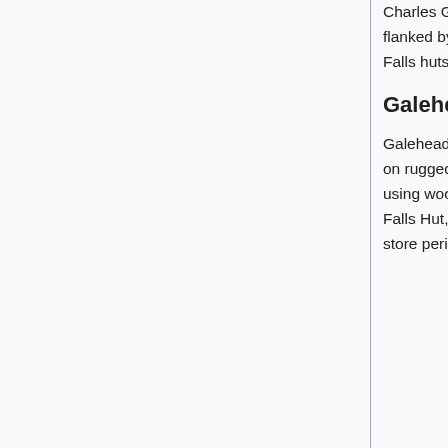Charles Greenleaf, for whom it is named. It features a central dining room and kitchen flanked by two bunkrooms, a design which became the model for Galehead and Zealand Falls huts, both constructed within the next year. It is 4,200 feet (1,300 m) above sea level.
Galehead
Galehead Hut (44°11′16″N 71°34′08″W) lies nearly 3,800 feet (1,200 m) above sea level on rugged Garfield Ridge. Construction on the original structure there began in 1931, using wood from the surrounding trees. It was completed in 1932, along with Zealand Falls Hut, its closest northern neighbor. A small space under the front porch was used to store perishable foods. In 1938, Galehead gained a temporary 360 degree view